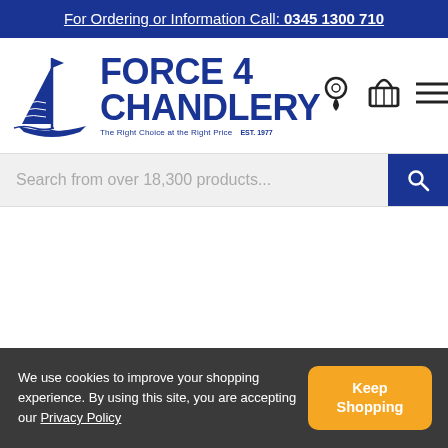For Ordering or Information Call: 0345 1300 710
[Figure (logo): Force 4 Chandlery logo with sailing boat graphic, text 'FORCE 4 CHANDLERY', tagline 'The Right Choice at the Right Price', 'EST. 1977', and navigation icons for location, basket, and menu]
Search from over 18,300 products...
We use cookies to improve your shopping experience. By using this site, you are accepting our Privacy Policy